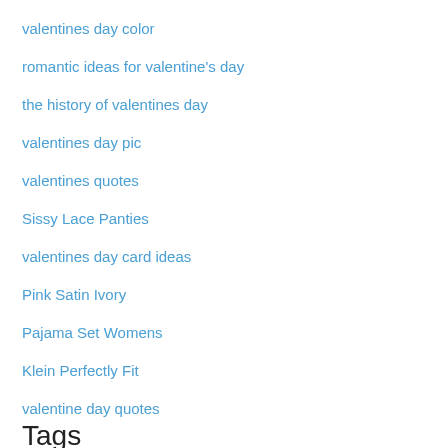valentines day color
romantic ideas for valentine's day
the history of valentines day
valentines day pic
valentines quotes
Sissy Lace Panties
valentines day card ideas
Pink Satin Ivory
Pajama Set Womens
Klein Perfectly Fit
valentine day quotes
Tags